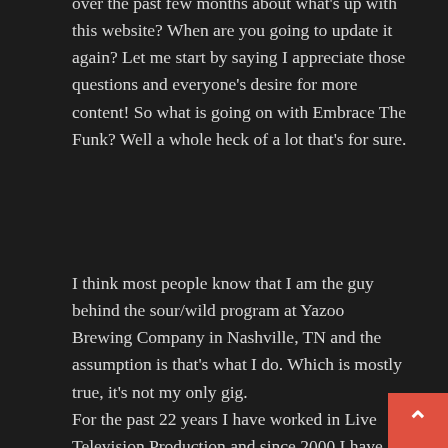over the past few months about what's up with this website? When are you going to update it again? Let me start by saying I appreciate those questions and everyone's desire for more content! So what is going on with Embrace The Funk? Well a whole heck of a lot that's for sure.
I think most people know that I am the guy behind the sour/wild program at Yazoo Brewing Company in Nashville, TN and the assumption is that's what I do. Which is mostly true, it's not my only gig. For the past 22 years I have worked in Live Television Production and since 2000 I have been a live newscast director at the #1 rated station in Nashville: WTVF Newschannel5. That is my main 40 hour (many times more) a week job. Since 2012 I have been working with my friend Linus and the awesome crew at Yazoo buildin the Embrace The Funk line of beers. We have ree...